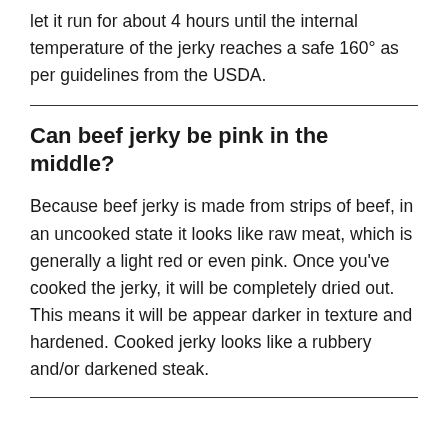let it run for about 4 hours until the internal temperature of the jerky reaches a safe 160° as per guidelines from the USDA.
Can beef jerky be pink in the middle?
Because beef jerky is made from strips of beef, in an uncooked state it looks like raw meat, which is generally a light red or even pink. Once you've cooked the jerky, it will be completely dried out. This means it will be appear darker in texture and hardened. Cooked jerky looks like a rubbery and/or darkened steak.